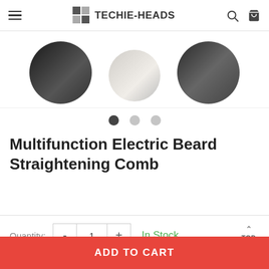TECHIE-HEADS
[Figure (photo): Product carousel showing three circular cropped images of beard styling product usage, with the center image lighter (product/device) and outer images showing dark beard close-ups. Three navigation dots below: one dark (active), two light gray (inactive).]
Multifunction Electric Beard Straightening Comb
Quantity: 1  In Stock
ADD TO CART